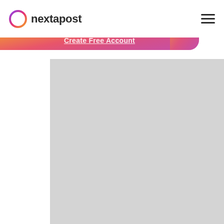[Figure (logo): Nextapost logo with circular gradient icon and bold text 'nextapost']
[Figure (infographic): Navigation header with nextapost logo on left, hamburger menu icon on right, gradient banner below with 'Create Free Account' CTA text]
Create Free Account
[Figure (photo): Large light gray placeholder rectangle occupying the lower right portion of the page]